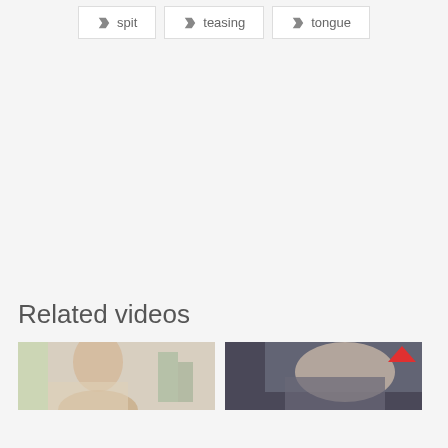spit
teasing
tongue
Related videos
[Figure (photo): Thumbnail of a woman in a bright room with plants]
[Figure (photo): Thumbnail of a person lying in bed]